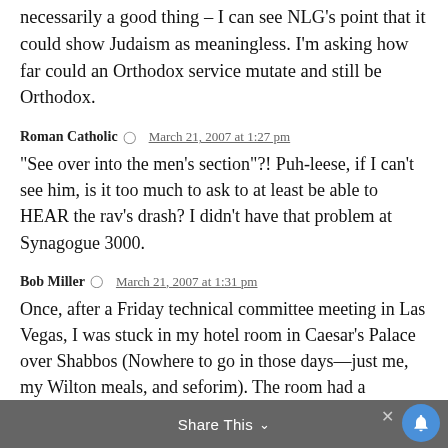necessarily a good thing – I can see NLG's point that it could show Judaism as meaningless. I'm asking how far could an Orthodox service mutate and still be Orthodox.
Roman Catholic  March 21, 2007 at 1:27 pm
“See over into the men’s section”?! Puh-leese, if I can’t see him, is it too much to ask to at least be able to HEAR the rav’s drash? I didn’t have that problem at Synagogue 3000.
Bob Miller  March 21, 2007 at 1:31 pm
Once, after a Friday technical committee meeting in Las Vegas, I was stuck in my hotel room in Caesar’s Palace over Shabbos (Nowhere to go in those days—just me, my Wilton meals, and seforim). The room had a
Share This